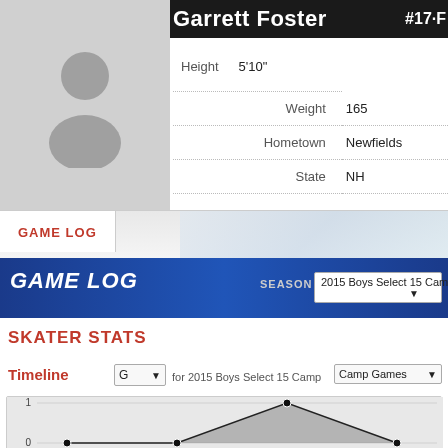Garrett Foster #17 F
| Label | Value |
| --- | --- |
| Height | 5'10" |
| Weight | 165 |
| Hometown | Newfields |
| State | NH |
GAME LOG
GAME LOG  SEASON 2015 Boys Select 15 Camp
SKATER STATS
Timeline  G  for 2015 Boys Select 15 Camp  Camp Games
[Figure (line-chart): Timeline - G for 2015 Boys Select 15 Camp - Camp Games]